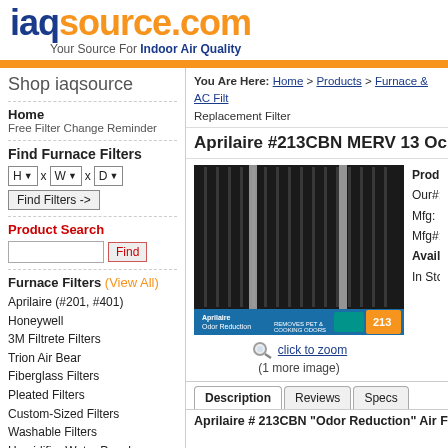iaqsource.com – Your Source For Indoor Air Quality
Shop iaqsource
Home
Free Filter Change Reminder
Find Furnace Filters
H x W x D – Find Filters ->
Product Search
Find
Furnace Filters (View All)
Aprilaire (#201, #401)
Honeywell
3M Filtrete Filters
Trion Air Bear
Fiberglass Filters
Pleated Filters
Custom-Sized Filters
Washable Filters
Humidifier Water Panels
Air Quality
Whole House Air Cleaners
Portable Air Cleaners
You Are Here: Home > Products > Furnace & AC Filt... Replacement Filter
Aprilaire #213CBN MERV 13 Oc...
[Figure (photo): Aprilaire 213CBN air filter – dark pleated filter with silver support rods, blue label bar at bottom reading 'Odor Reduction' with model number 213]
click to zoom
(1 more image)
Produ...
Our#:
Mfg:
Mfg#:
Availability:
In Stoc...
Description   Reviews   Specs
Aprilaire # 213CBN "Odor Reduction" Air Filte...